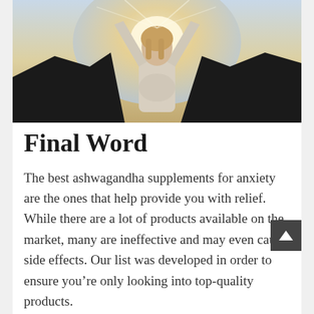[Figure (photo): A woman with arms raised above her head, backlit by golden sunlight, wearing a white long-sleeve shirt, outdoors with a blurred background of mountains and sky.]
Final Word
The best ashwagandha supplements for anxiety are the ones that help provide you with relief. While there are a lot of products available on the market, many are ineffective and may even cause side effects. Our list was developed in order to ensure you’re only looking into top-quality products.